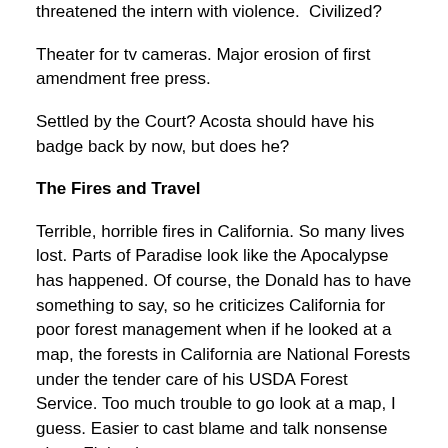threatened the intern with violence.  Civilized?
Theater for tv cameras. Major erosion of first amendment free press.
Settled by the Court? Acosta should have his badge back by now, but does he?
The Fires and Travel
Terrible, horrible fires in California. So many lives lost. Parts of Paradise look like the Apocalypse has happened. Of course, the Donald has to have something to say, so he criticizes California for poor forest management when if he looked at a map, the forests in California are National Forests under the tender care of his USDA Forest Service. Too much trouble to go look at a map, I guess. Easier to cast blame and talk nonsense about Finland.